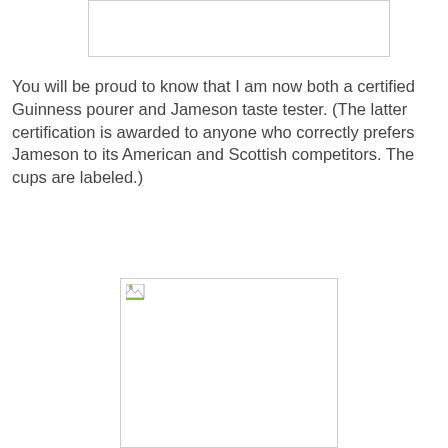[Figure (photo): Placeholder image box at top, appears as broken/missing image with border]
You will be proud to know that I am now both a certified Guinness pourer and Jameson taste tester. (The latter certification is awarded to anyone who correctly prefers Jameson to its American and Scottish competitors. The cups are labeled.)
[Figure (photo): Placeholder image box at bottom, appears as broken/missing image with border and small broken image icon in top-left corner]